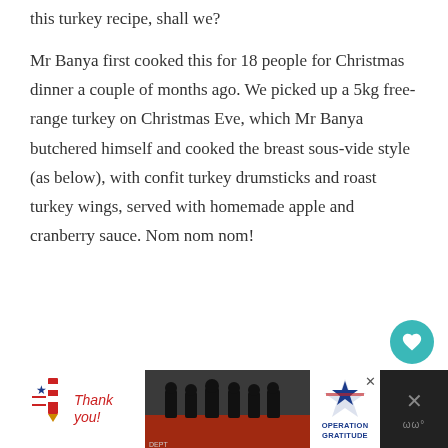this turkey recipe, shall we?
Mr Banya first cooked this for 18 people for Christmas dinner a couple of months ago. We picked up a 5kg free-range turkey on Christmas Eve, which Mr Banya butchered himself and cooked the breast sous-vide style (as below), with confit turkey drumsticks and roast turkey wings, served with homemade apple and cranberry sauce. Nom nom nom!
[Figure (other): Advertisement banner at bottom: 'Thank you!' handwritten text with pencil illustration on left, photo of firefighters in the middle, Operation Gratitude logo on right. Dark panel on far right with X close button and menu dots.]